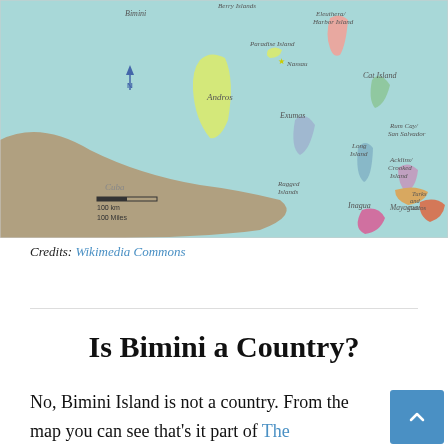[Figure (map): Map of The Bahamas showing islands including Bimini, Paradise Island, Nassau, Andros, Eleuthera/Harbor Island, Exumas, Cat Island, Run Cay/San Salvador, Long Island, Ragged Islands, Acklins/Crooked Island, Mayaguana, Inagua, Turks and Caicos, with Cuba visible to the south and a scale bar showing 100 km / 100 Miles.]
Credits: Wikimedia Commons
Is Bimini a Country?
No, Bimini Island is not a country. From the map you can see that's it part of The Bahamas. If you've heard about Bimini, then you probably associate the island